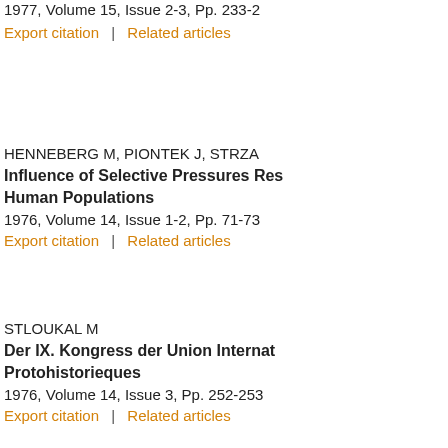13, 1976)
1977, Volume 15, Issue 2-3, Pp. 233-2
Export citation  |  Related articles
HENNEBERG M, PIONTEK J, STRZA
Influence of Selective Pressures Res Human Populations
1976, Volume 14, Issue 1-2, Pp. 71-73
Export citation  |  Related articles
STLOUKAL M
Der IX. Kongress der Union Internat Protohistorieques
1976, Volume 14, Issue 3, Pp. 252-253
Export citation  |  Related articles
DUTTA PC
Race Concept and Palaeoanthropol Remains [Indian Material]
1977, Volume 15, Issue...